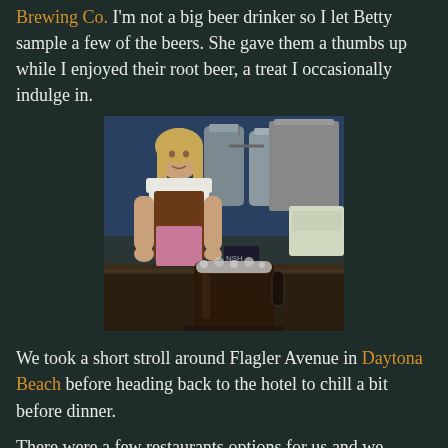Brewing Co. I'm not a big beer drinker so I let Betty sample a few of the beers. She gave them a thumbs up while I enjoyed their root beer, a treat I occasionally indulge in.
[Figure (photo): A woman in a German dirndl dress standing behind a bar counter at a brewery, with large stainless steel brewing tanks visible in the background and a glass mug of dark root beer in the foreground.]
We took a short stroll around Flagler Avenue in Daytona Beach before heading back to the hotel to chill a bit before dinner.
There were a few restaurants options for us and we definitely picked the right one. Kona Tiki Bar and Grind Gastropub were a lot of fun (the two are really combined).